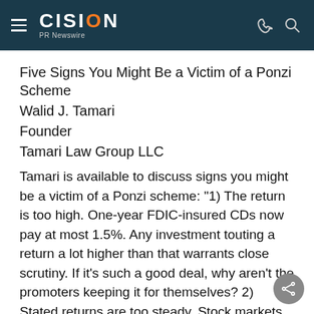CISION PR Newswire
Five Signs You Might Be a Victim of a Ponzi Scheme
Walid J. Tamari
Founder
Tamari Law Group LLC
Tamari is available to discuss signs you might be a victim of a Ponzi scheme: "1) The return is too high. One-year FDIC-insured CDs now pay at most 1.5%. Any investment touting a return a lot higher than that warrants close scrutiny. If it's such a good deal, why aren't the promoters keeping it for themselves? 2) Stated returns are too steady. Stock markets and interest rates often vary widely from year to year. So